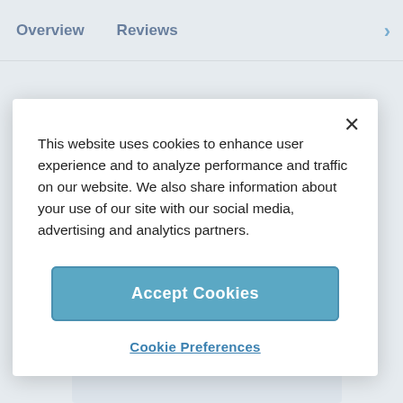Overview   Reviews
This website uses cookies to enhance user experience and to analyze performance and traffic on our website. We also share information about your use of our site with our social media, advertising and analytics partners.
Accept Cookies
Cookie Preferences
Indoor pool
Situated on The Fre...
Free Wi-Fi
ADVERTISEMENT